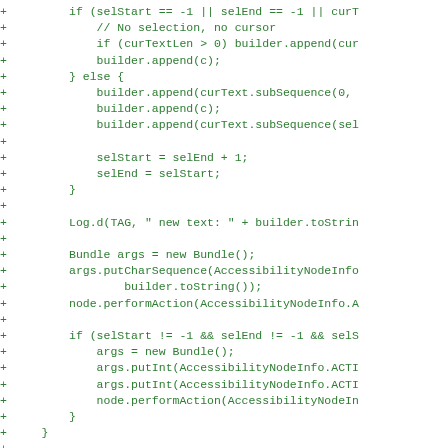[Figure (screenshot): Code diff snippet showing added lines (green '+' markers) of Java/Android code involving string building with selection handling, accessibility node actions, and an @Override annotation for postLocalAction method.]